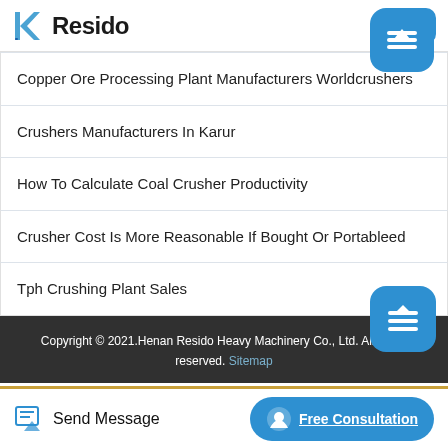Resido
Copper Ore Processing Plant Manufacturers Worldcrushers
Crushers Manufacturers In Karur
How To Calculate Coal Crusher Productivity
Crusher Cost Is More Reasonable If Bought Or Portableed
Tph Crushing Plant Sales
Copyright © 2021.Henan Resido Heavy Machinery Co., Ltd. All rights reserved. Sitemap
Send Message
Free Consultation